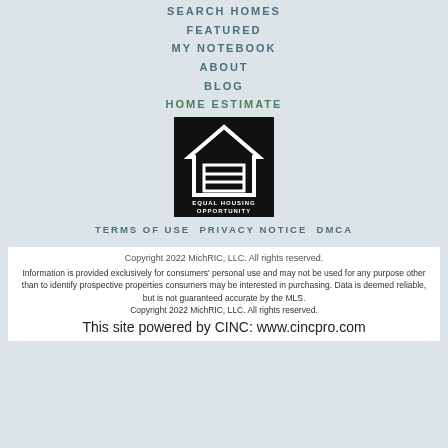SEARCH HOMES
FEATURED
MY NOTEBOOK
ABOUT
BLOG
HOME ESTIMATE
[Figure (logo): Equal Housing Opportunity logo — black square with white outline of a house and the text EQUAL HOUSING OPPORTUNITY]
TERMS OF USE  PRIVACY NOTICE  DMCA
Copyright 2022 MichRIC, LLC. All rights reserved.
Information is provided exclusively for consumers' personal use and may not be used for any purpose other than to identify prospective properties consumers may be interested in purchasing. Data is deemed reliable, but is not guaranteed accurate by the MLS.
Copyright 2022 MichRIC, LLC. All rights reserved.
This site powered by CINC: www.cincpro.com